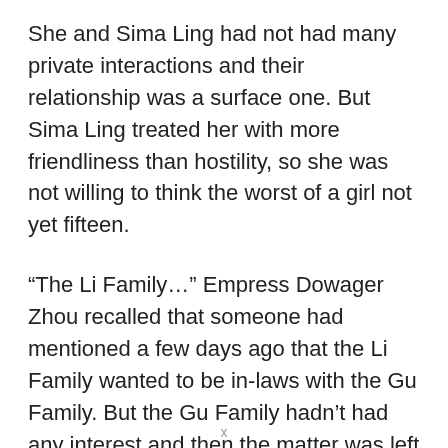She and Sima Ling had not had many private interactions and their relationship was a surface one. But Sima Ling treated her with more friendliness than hostility, so she was not willing to think the worst of a girl not yet fifteen.
“The Li Family…” Empress Dowager Zhou recalled that someone had mentioned a few days ago that the Li Family wanted to be in-laws with the Gu Family. But the Gu Family hadn’t had any interest and then the matter was left unsettled. But she swallowed the words as she did not want to mention this matter when she thought
x